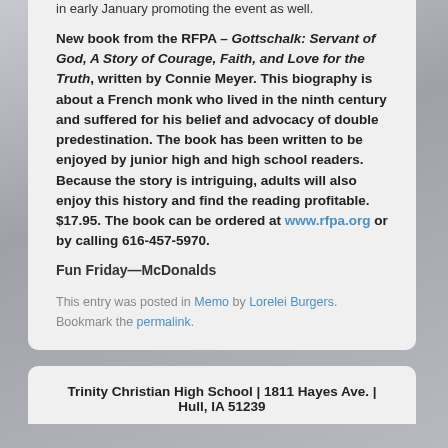in early January promoting the event as well.
New book from the RFPA – Gottschalk: Servant of God, A Story of Courage, Faith, and Love for the Truth, written by Connie Meyer. This biography is about a French monk who lived in the ninth century and suffered for his belief and advocacy of double predestination. The book has been written to be enjoyed by junior high and high school readers. Because the story is intriguing, adults will also enjoy this history and find the reading profitable. $17.95. The book can be ordered at www.rfpa.org or by calling 616-457-5970.
Fun Friday—McDonalds
This entry was posted in Memo by Lorelei Burgers. Bookmark the permalink.
Trinity Christian High School | 1811 Hayes Ave. | Hull, IA 51239